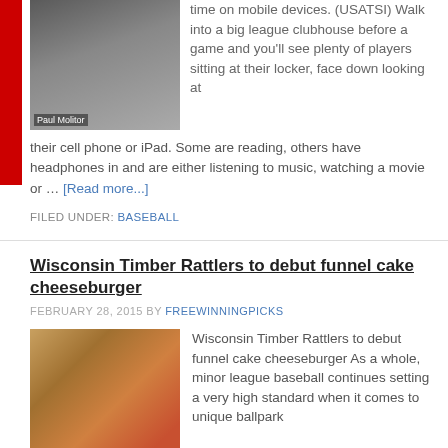[Figure (photo): Photo of Paul Molitor seated at a table with a microphone and water bottle]
time on mobile devices. (USATSI) Walk into a big league clubhouse before a game and you'll see plenty of players sitting at their locker, face down looking at their cell phone or iPad. Some are reading, others have headphones in and are either listening to music, watching a movie or … [Read more...]
FILED UNDER: BASEBALL
Wisconsin Timber Rattlers to debut funnel cake cheeseburger
FEBRUARY 28, 2015 BY FREEWINNINGPICKS
[Figure (photo): Photo of a funnel cake cheeseburger with lettuce, tomato and other toppings]
Wisconsin Timber Rattlers to debut funnel cake cheeseburger As a whole, minor league baseball continues setting a very high standard when it comes to unique ballpark